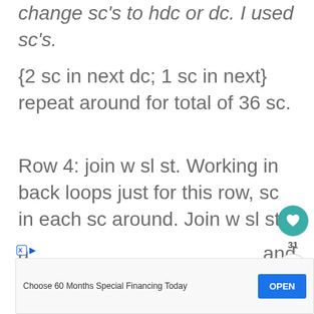change sc's to hdc or dc. I used sc's.
{2 sc in next dc; 1 sc in next} repeat around for total of 36 sc.
Row 4: join w sl st.  Working in back loops just for this row, sc in each sc around.  Join w sl st.
Row 5 and following: working through both loops, sc in each sc
a and
[Figure (screenshot): Advertisement banner: Choose 60 Months Special Financing Today with OPEN button]
c w